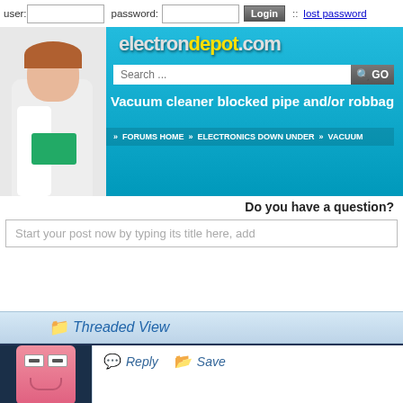[Figure (screenshot): Web forum login bar with user/password fields and lost password link]
[Figure (screenshot): ElectronDepot.com forum banner with cyan background, search bar, vacuum cleaner topic title, and navigation breadcrumb]
Do you have a question?
Start your post now by typing its title here, add
[Figure (screenshot): Threaded View section header bar with folder icon]
[Figure (screenshot): Forum post area showing avatar (angry face icon) and Reply/Save action buttons]